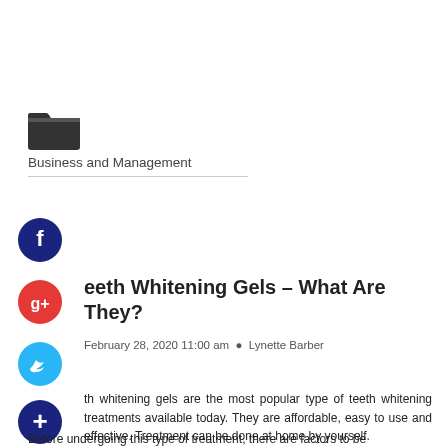[Figure (illustration): Dark folder icon (open folder graphic)]
Business and Management
[Figure (illustration): Facebook social share button - dark blue circle with white 'f']
[Figure (illustration): Google+ social share button - red circle with white 'g+']
eeth Whitening Gels – What Are They?
[Figure (illustration): Twitter social share button - cyan circle with white bird icon]
February 28, 2020 11:00 am  Lynette Barber
[Figure (illustration): Add/share button - dark navy circle with white plus sign]
th whitening gels are the most popular type of teeth whitening treatments available today. They are affordable, easy to use and effective. Treatment can be done at home by yourself.
Before undergoing this type of treatment, there are factors to be